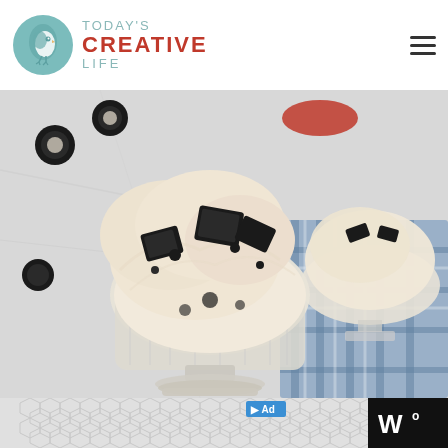[Figure (logo): Today's Creative Life blog logo with teal bird circle icon and text reading TODAY'S CREATIVE LIFE]
[Figure (photo): Creamy dessert (Oreo ice cream or mousse) served in glass pedestal bowls, topped with Oreo cookie pieces, on a marble surface with a plaid cloth napkin in the background]
[Figure (infographic): Advertisement bar at the bottom with hexagon pattern background and weather widget showing temperature symbol]